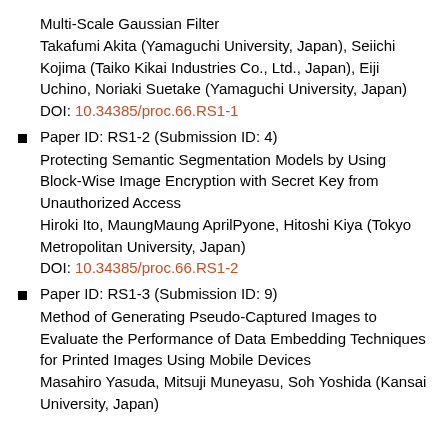Multi-Scale Gaussian Filter
Takafumi Akita (Yamaguchi University, Japan), Seiichi Kojima (Taiko Kikai Industries Co., Ltd., Japan), Eiji Uchino, Noriaki Suetake (Yamaguchi University, Japan)
DOI: 10.34385/proc.66.RS1-1
Paper ID: RS1-2 (Submission ID: 4)
Protecting Semantic Segmentation Models by Using Block-Wise Image Encryption with Secret Key from Unauthorized Access
Hiroki Ito, MaungMaung AprilPyone, Hitoshi Kiya (Tokyo Metropolitan University, Japan)
DOI: 10.34385/proc.66.RS1-2
Paper ID: RS1-3 (Submission ID: 9)
Method of Generating Pseudo-Captured Images to Evaluate the Performance of Data Embedding Techniques for Printed Images Using Mobile Devices
Masahiro Yasuda, Mitsuji Muneyasu, Soh Yoshida (Kansai University, Japan)